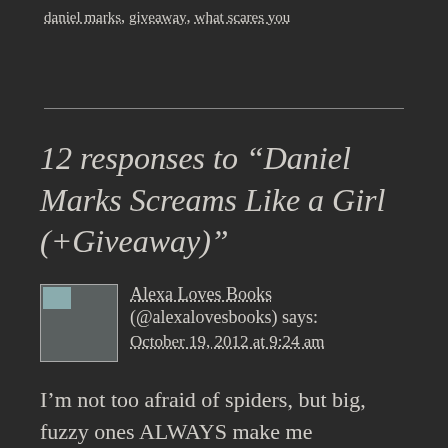daniel marks, giveaway, what scares you
12 responses to “Daniel Marks Screams Like a Girl (+Giveaway)”
Alexa Loves Books (@alexalovesbooks) says: October 19, 2012 at 9:24 am
I’m not too afraid of spiders, but big, fuzzy ones ALWAYS make me